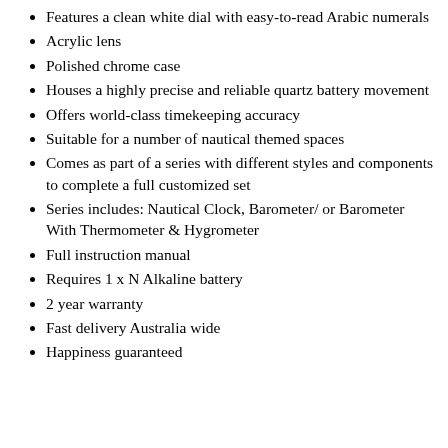Features a clean white dial with easy-to-read Arabic numerals
Acrylic lens
Polished chrome case
Houses a highly precise and reliable quartz battery movement
Offers world-class timekeeping accuracy
Suitable for a number of nautical themed spaces
Comes as part of a series with different styles and components to complete a full customized set
Series includes: Nautical Clock, Barometer/ or Barometer With Thermometer & Hygrometer
Full instruction manual
Requires 1 x N Alkaline battery
2 year warranty
Fast delivery Australia wide
Happiness guaranteed